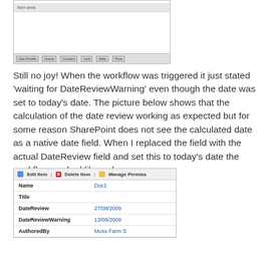[Figure (screenshot): Screenshot of a dialog or form with toolbar buttons at the bottom including 'Use Profile', 'Home', 'Content', 'Link', 'Help', and 'Time'.]
Still no joy! When the workflow was triggered it just stated 'waiting for DateReviewWarning' even though the date was set to today's date. The picture below shows that the calculation of the date review working as expected but for some reason SharePoint does not see the calculated date as a native date field. When I replaced the field with the actual DateReview field and set this to today's date the workflow worked like a dream.
[Figure (screenshot): SharePoint item view screenshot showing fields: Name=Doc1, Title=(blank), DateReview=27/08/2009, DateReviewWarning=13/08/2009, AuthoredBy=Moss Farm S... with Edit Item, Delete Item, and Manage Permissions toolbar options.]